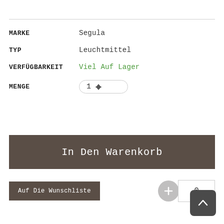MARKE: Segula
TYP: Leuchtmittel
VERFÜGBARKEIT: Viel Auf Lager
MENGE: 1
In Den Warenkorb
Auf Die Wunschliste
0